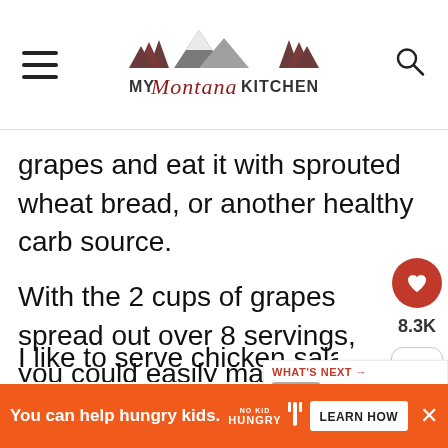My Montana Kitchen
grapes and eat it with sprouted wheat bread, or another healthy carb source.
With the 2 cups of grapes spread out over 8 servings, you could easily make your chicken salad into chicken salad sandwiches by using sprouted grain bread or artisan sourdough!
I like to serve chicken salad along with m...
[Figure (other): Ad banner: You can help hungry kids. No Kid Hungry. Learn How.]